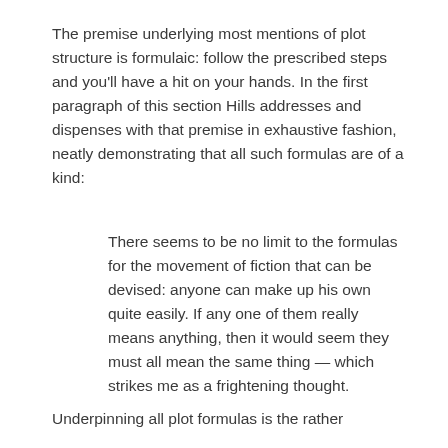The premise underlying most mentions of plot structure is formulaic: follow the prescribed steps and you'll have a hit on your hands. In the first paragraph of this section Hills addresses and dispenses with that premise in exhaustive fashion, neatly demonstrating that all such formulas are of a kind:
There seems to be no limit to the formulas for the movement of fiction that can be devised: anyone can make up his own quite easily. If any one of them really means anything, then it would seem they must all mean the same thing — which strikes me as a frightening thought.
Underpinning all plot formulas is the rather